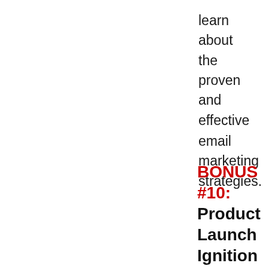learn about the proven and effective email marketing strategies.
BONUS #10: Product Launch Ignition